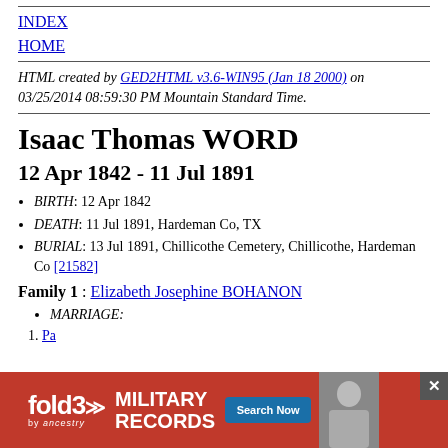INDEX
HOME
HTML created by GED2HTML v3.6-WIN95 (Jan 18 2000) on 03/25/2014 08:59:30 PM Mountain Standard Time.
Isaac Thomas WORD
12 Apr 1842 - 11 Jul 1891
BIRTH: 12 Apr 1842
DEATH: 11 Jul 1891, Hardeman Co, TX
BURIAL: 13 Jul 1891, Chillicothe Cemetery, Chillicothe, Hardeman Co [21582]
Family 1 : Elizabeth Josephine BOHANON
MARRIAGE:
Pa...